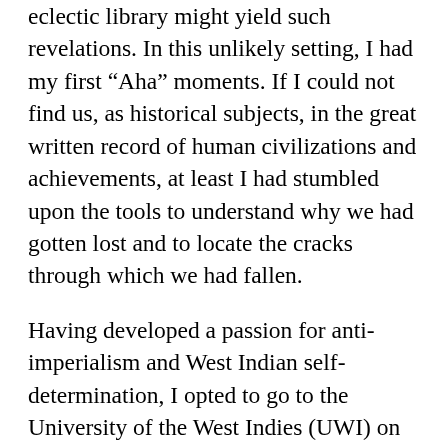eclectic library might yield such revelations. In this unlikely setting, I had my first “Aha” moments. If I could not find us, as historical subjects, in the great written record of human civilizations and achievements, at least I had stumbled upon the tools to understand why we had gotten lost and to locate the cracks through which we had fallen.
Having developed a passion for anti-imperialism and West Indian self-determination, I opted to go to the University of the West Indies (UWI) on my colonial government-funded scholarship.
The Mona campus of UWI in Kingston, Jamaica, was still in a state of lingering ferment. The “Rodney riots” had taken place in early 1968 when Walter Rodney, Guyanese pan-Africanist, Black liberationist, anti-imperialist, Marxist-inspired socialist, was banned by the conservative Jamaica Labor Party government of Hugh Shearer from re-entry into Jamaica to resume his faculty position in